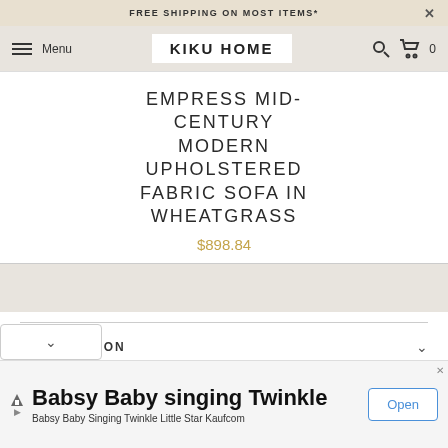FREE SHIPPING ON MOST ITEMS*
KIKU HOME  Menu
EMPRESS MID-CENTURY MODERN UPHOLSTERED FABRIC SOFA IN WHEATGRASS
$898.84
INFORMATION
Babsy Baby singing Twinkle
Babsy Baby Singing Twinkle Little Star Kaufcom